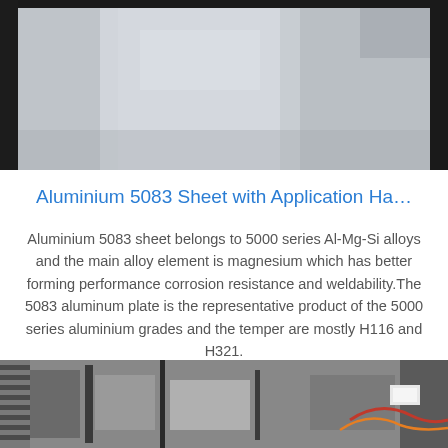[Figure (photo): Top portion of a photo showing aluminium sheet material — grey metallic surface with dark edges, industrial setting]
Aluminium 5083 Sheet with Application Ha…
Aluminium 5083 sheet belongs to 5000 series Al-Mg-Si alloys and the main alloy element is magnesium which has better forming performance corrosion resistance and weldability.The 5083 aluminum plate is the representative product of the 5000 series aluminium grades and the temper are mostly H116 and H321.
[Figure (other): Get Price button — rectangular outlined button with blue text]
[Figure (logo): TOP logo with dotted arc above the letters TOP in blue]
[Figure (photo): Bottom portion of a photo showing industrial aluminium processing machinery — rollers, cables, and equipment in a factory setting]